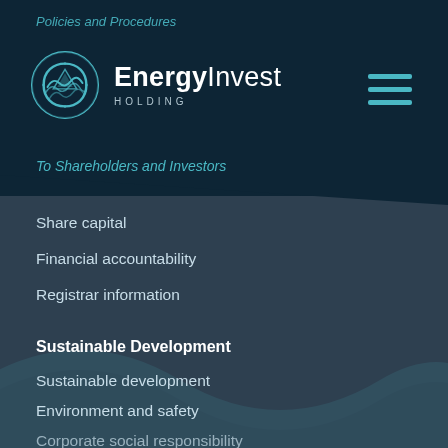Policies and Procedures
[Figure (logo): EnergyInvest Holding logo with teal circular wave icon and bold company name]
To Shareholders and Investors
Share capital
Financial accountability
Registrar information
Sustainable Development
Sustainable development
Environment and safety
Corporate social responsibility
Energy efficiency and conservation
Our Assets